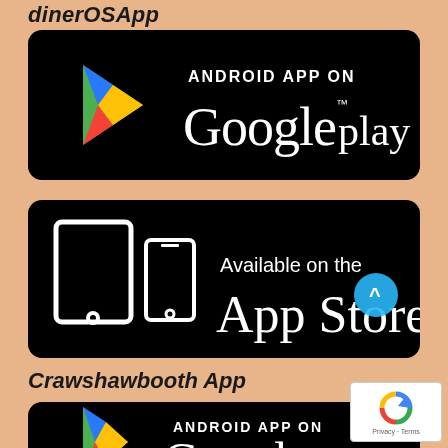dinerOSApp
[Figure (logo): Google Play store badge on black rounded rectangle background with colorful Play triangle logo on left and text 'ANDROID APP ON Google play']
[Figure (logo): Apple App Store badge on black rounded rectangle background with tablet and phone icons on left and text 'Available on the App Store']
Crawshawbooth App
[Figure (logo): Partial Google Play store badge on black rounded rectangle background with colorful Play triangle logo and text 'ANDROID APP ON Google...' (cut off)]